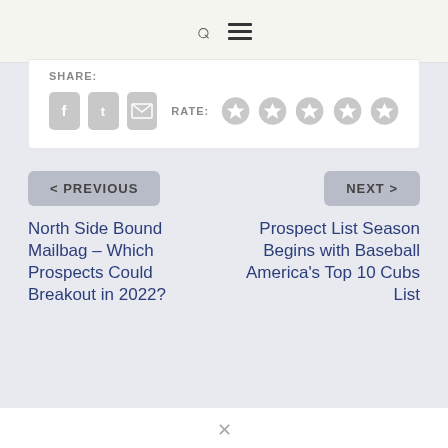Search / Menu navigation bar
SHARE:
[Figure (screenshot): Social share buttons (Facebook, Twitter, Email) and star rating (5 stars, all empty/grey), with RATE: label]
< PREVIOUS
NEXT >
North Side Bound Mailbag – Which Prospects Could Breakout in 2022?
Prospect List Season Begins with Baseball America's Top 10 Cubs List